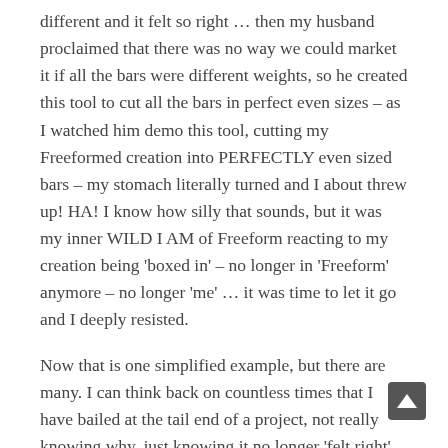different and it felt so right … then my husband proclaimed that there was no way we could market it if all the bars were different weights, so he created this tool to cut all the bars in perfect even sizes – as I watched him demo this tool, cutting my Freeformed creation into PERFECTLY even sized bars – my stomach literally turned and I about threw up! HA! I know how silly that sounds, but it was my inner WILD I AM of Freeform reacting to my creation being 'boxed in' – no longer in 'Freeform' anymore – no longer 'me' … it was time to let it go and I deeply resisted.
Now that is one simplified example, but there are many. I can think back on countless times that I have bailed at the tail end of a project, not really knowing why, just knowing it no longer 'felt right' to do it so just had to stop. (I have Always been a big one of Following my inner Feel! It left me thinking that I was